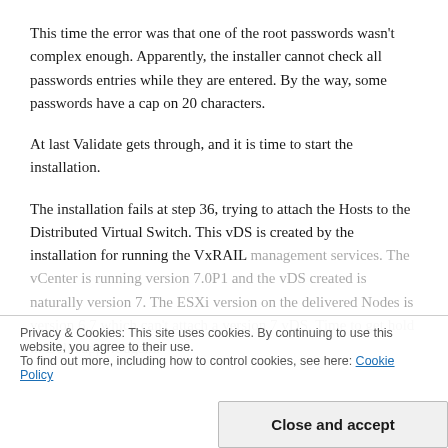This time the error was that one of the root passwords wasn't complex enough. Apparently, the installer cannot check all passwords entries while they are entered. By the way, some passwords have a cap on 20 characters.
At last Validate gets through, and it is time to start the installation.
The installation fails at step 36, trying to attach the Hosts to the Distributed Virtual Switch. This vDS is created by the installation for running the VxRAIL management services. The vCenter is running version 7.0P1 and the vDS created is naturally version 7. The ESXi version on the delivered Nodes is version 6.7 which can't attach a version 7 vDS. Time to get hold in Dell support again.